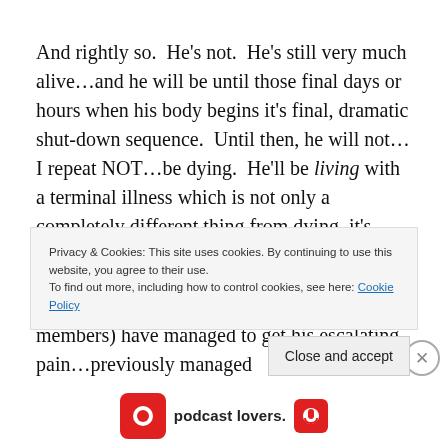And rightly so.  He's not.  He's still very much alive…and he will be until those final days or hours when his body begins it's final, dramatic shut-down sequence.  Until then, he will not…I repeat NOT…be dying.  He'll be living with a terminal illness which is not only a completely different thing from dying, it's where hospice care really shines.
So far the hospice staff (along with family members) have managed to get his escalating pain…previously managed
Privacy & Cookies: This site uses cookies. By continuing to use this website, you agree to their use.
To find out more, including how to control cookies, see here: Cookie Policy